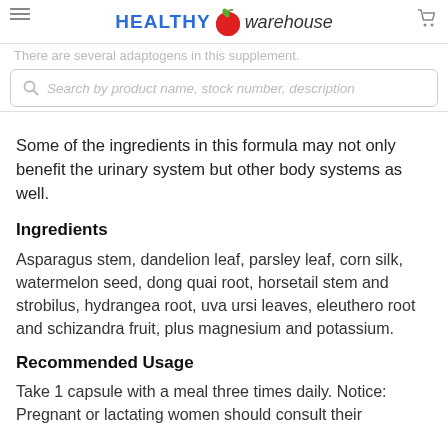HEALTHY warehouse [logo with apple icon, hamburger menu, cart icon]
There are several adaptogens in this supplement.
Search by product name, stock number, description
Some of the ingredients in this formula may not only benefit the urinary system but other body systems as well.
Ingredients
Asparagus stem, dandelion leaf, parsley leaf, corn silk, watermelon seed, dong quai root, horsetail stem and strobilus, hydrangea root, uva ursi leaves, eleuthero root and schizandra fruit, plus magnesium and potassium.
Recommended Usage
Take 1 capsule with a meal three times daily. Notice: Pregnant or lactating women should consult their